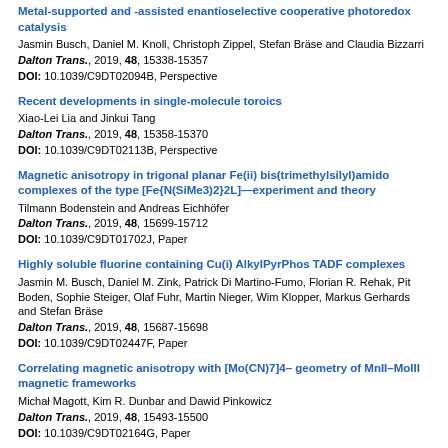Metal-supported and -assisted enantioselective cooperative photoredox catalysis
Jasmin Busch, Daniel M. Knoll, Christoph Zippel, Stefan Bräse and Claudia Bizzarri
Dalton Trans., 2019, 48, 15338-15357
DOI: 10.1039/C9DT02094B, Perspective
Recent developments in single-molecule toroics
Xiao-Lei Lia and Jinkui Tang
Dalton Trans., 2019, 48, 15358-15370
DOI: 10.1039/C9DT02113B, Perspective
Magnetic anisotropy in trigonal planar Fe(ii) bis(trimethylsilyl)amido complexes of the type [Fe{N(SiMe3)2}2L]—experiment and theory
Tilmann Bodenstein and Andreas Eichhöfer
Dalton Trans., 2019, 48, 15699-15712
DOI: 10.1039/C9DT01702J, Paper
Highly soluble fluorine containing Cu(i) AlkylPyrPhos TADF complexes
Jasmin M. Busch, Daniel M. Zink, Patrick Di Martino-Fumo, Florian R. Rehak, Pit Boden, Sophie Steiger, Olaf Fuhr, Martin Nieger, Wim Klopper, Markus Gerhards and Stefan Bräse
Dalton Trans., 2019, 48, 15687-15698
DOI: 10.1039/C9DT02447F, Paper
Correlating magnetic anisotropy with [Mo(CN)7]4– geometry of MnII–MoIII magnetic frameworks
Michał Magott, Kim R. Dunbar and Dawid Pinkowicz
Dalton Trans., 2019, 48, 15493-15500
DOI: 10.1039/C9DT02164G, Paper
High relaxation barrier in neodymium furoate-based field-induced SMMs